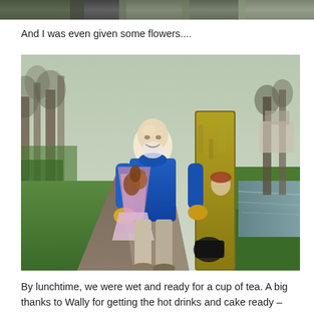[Figure (photo): Top portion of an outdoor photograph, cropped at the top of the page]
And I was even given some flowers....
[Figure (photo): A smiling bald man with a white beard wearing a blue hoodie and yellow gloves, holding a bouquet of flowers wrapped in decorative paper. He is standing on a path beside trees and a stream or canal. Another person is visible behind a tree in the background. The setting is a park or riverside path with green grass and bare winter trees.]
By lunchtime, we were wet and ready for a cup of tea. A big thanks to Wally for getting the hot drinks and cake ready –